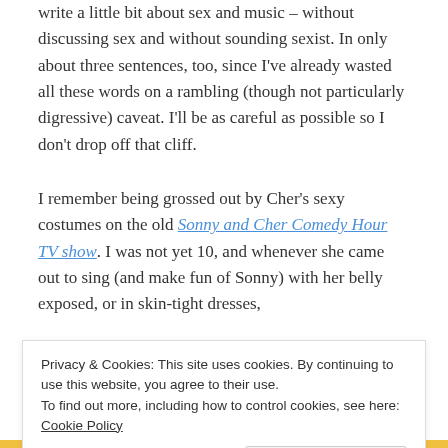write a little bit about sex and music – without discussing sex and without sounding sexist. In only about three sentences, too, since I've already wasted all these words on a rambling (though not particularly digressive) caveat. I'll be as careful as possible so I don't drop off that cliff.
I remember being grossed out by Cher's sexy costumes on the old Sonny and Cher Comedy Hour TV show. I was not yet 10, and whenever she came out to sing (and make fun of Sonny) with her belly exposed, or in skin-tight dresses, I was horrified. By middle school, disco music
middle school years were also the era of
Privacy & Cookies: This site uses cookies. By continuing to use this website, you agree to their use.
To find out more, including how to control cookies, see here: Cookie Policy